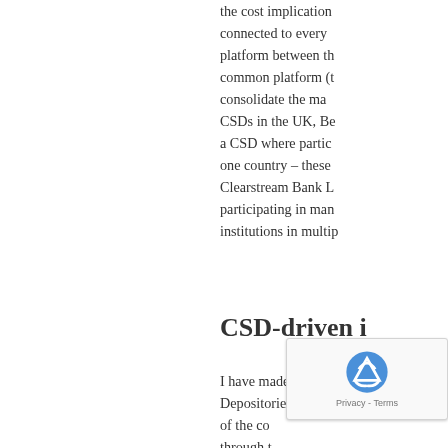the cost implication connected to every platform between th common platform (t consolidate the ma CSDs in the UK, Be a CSD where partic one country – these Clearstream Bank L participating in man institutions in multip
CSD-driven i
I have made a grap Depositories hereu of the co through t thing fro systems and recor